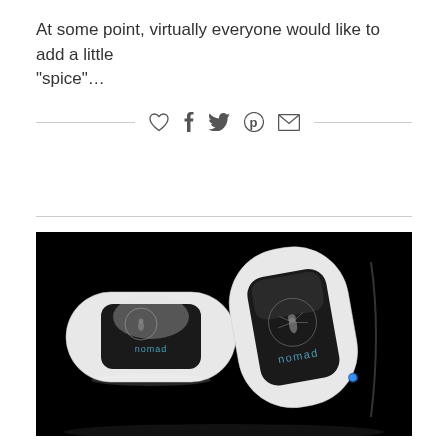At some point, virtually everyone would like to add a little “spice”…
[Figure (other): Social sharing icons: heart, Facebook f, Twitter bird, Pinterest p, envelope/mail]
[Figure (photo): Product photo of two white Nomad brand devices on a black background. Each device is white, pill-shaped with a dark oval panel in the center, featuring the Nomad logo (a mosquito/dragonfly illustration) and the word 'nomad' in lowercase. One device is laying flat showing its top face, and the other is angled showing its profile and a small blue power button indicator.]